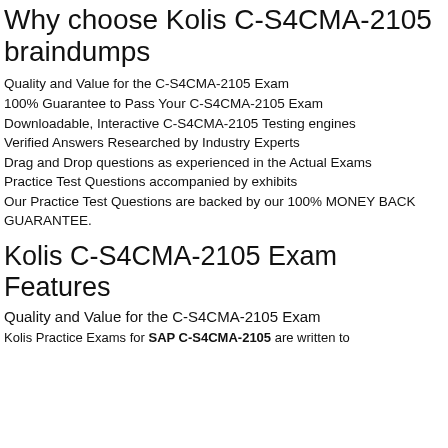Why choose Kolis C-S4CMA-2105 braindumps
Quality and Value for the C-S4CMA-2105 Exam
100% Guarantee to Pass Your C-S4CMA-2105 Exam
Downloadable, Interactive C-S4CMA-2105 Testing engines
Verified Answers Researched by Industry Experts
Drag and Drop questions as experienced in the Actual Exams
Practice Test Questions accompanied by exhibits
Our Practice Test Questions are backed by our 100% MONEY BACK GUARANTEE.
Kolis C-S4CMA-2105 Exam Features
Quality and Value for the C-S4CMA-2105 Exam
Kolis Practice Exams for SAP C-S4CMA-2105 are written to